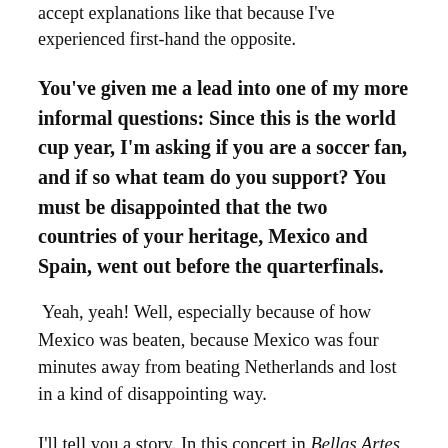accept explanations like that because I've experienced first-hand the opposite.
You've given me a lead into one of my more informal questions: Since this is the world cup year, I'm asking if you are a soccer fan, and if so what team do you support? You must be disappointed that the two countries of your heritage, Mexico and Spain, went out before the quarterfinals.
Yeah, yeah! Well, especially because of how Mexico was beaten, because Mexico was four minutes away from beating Netherlands and lost in a kind of disappointing way.
I'll tell you a story. In this concert in Bellas Artes (Palace of Fine Arts), this beautiful marble palace in Mexico City, one minute before we started the Rachmaninoff Second Piano